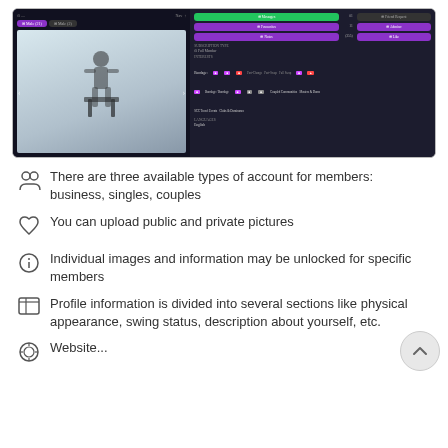[Figure (screenshot): Screenshot of a dating/social platform profile page with dark UI, showing a female profile photo in a snowy outdoor setting, navigation tabs (Male/Male), action buttons in green and purple (Messages, Favorites, Notes, Like, Friend Request, Admirer), interests section with tags (Bondage/Bondage, Coupled Communities, Masters & Doms, SCC Travel Events, Clubs & Dominance), and Languages: English.]
There are three available types of account for members: business, singles, couples
You can upload public and private pictures
Individual images and information may be unlocked for specific members
Profile information is divided into several sections like physical appearance, swing status, description about yourself, etc.
Website...